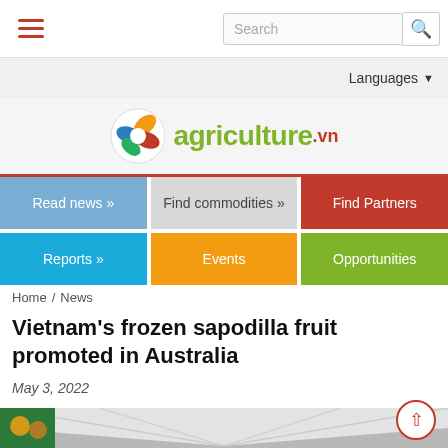Search bar and hamburger menu navigation
Languages
[Figure (logo): agriculture.vn logo with circular leaf/globe icon in orange, red, blue, green colors and text 'agriculture' in olive green with '.vn' in red]
Read news » | Find commodities » | Find Partners | Reports » | Events | Opportunities
Home / News
Vietnam's frozen sapodilla fruit promoted in Australia
May 3, 2022
[Figure (photo): Outdoor market stall with a white canopy tent, colorful banners showing fruit imagery, and a person visible in the background]